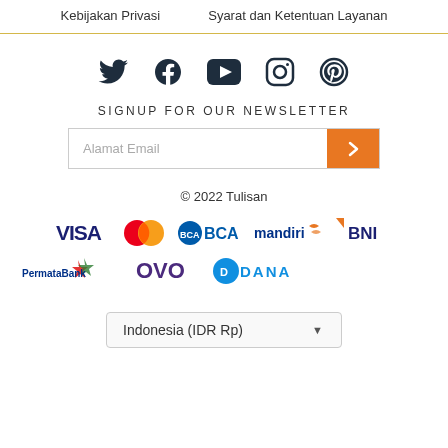Kebijakan Privasi    Syarat dan Ketentuan Layanan
[Figure (infographic): Social media icons row: Twitter, Facebook, YouTube, Instagram, Pinterest]
SIGNUP FOR OUR NEWSLETTER
[Figure (infographic): Email input field with orange submit button showing right arrow]
© 2022 Tulisan
[Figure (infographic): Payment logos row 1: VISA, MasterCard, BCA, mandiri, BNI]
[Figure (infographic): Payment logos row 2: PermataBank, OVO, DANA]
[Figure (infographic): Country/currency selector: Indonesia (IDR Rp) with dropdown arrow]